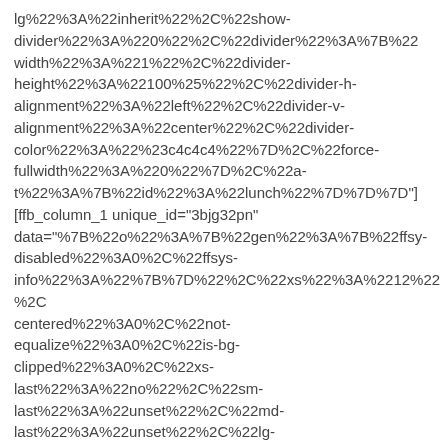lg%22%3A%22inherit%22%2C%22show-divider%22%3A%220%22%2C%22divider%22%3A%7B%22width%22%3A%221%22%2C%22divider-height%22%3A%22100%25%22%2C%22divider-h-alignment%22%3A%22left%22%2C%22divider-v-alignment%22%3A%22center%22%2C%22divider-color%22%3A%22%23c4c4c4%22%7D%2C%22force-fullwidth%22%3A%220%22%7D%2C%22a-t%22%3A%7B%22id%22%3A%22lunch%22%7D%7D%7D"] [ffb_column_1 unique_id="3bjg32pn" data="%7B%22o%22%3A%7B%22gen%22%3A%7B%22ffsy-disabled%22%3A0%2C%22ffsys-info%22%3A%22%7B%7D%22%2C%22xs%22%3A%2212%22%2C centered%22%3A0%2C%22not-equalize%22%3A0%2C%22is-bg-clipped%22%3A0%2C%22xs-last%22%3A%22no%22%2C%22sm-last%22%3A%22unset%22%2C%22md-last%22%3A%22unset%22%2C%22lg-